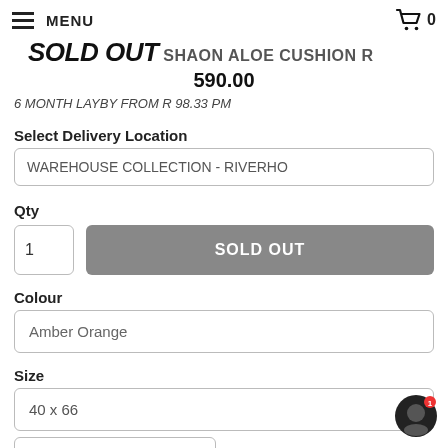MENU | Cart 0
SOLD OUT SHAON ALOE CUSHION R 590.00
6 MONTH LAYBY FROM R 98.33 PM
Select Delivery Location
WAREHOUSE COLLECTION - RIVERHO
Qty
1
SOLD OUT
Colour
Amber Orange
Size
40 x 66